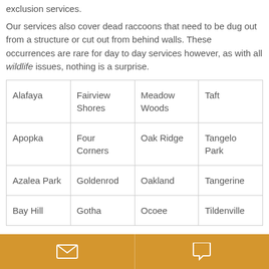exclusion services.
Our services also cover dead raccoons that need to be dug out from a structure or cut out from behind walls. These occurrences are rare for day to day services however, as with all wildlife issues, nothing is a surprise.
| Alafaya | Fairview Shores | Meadow Woods | Taft |
| Apopka | Four Corners | Oak Ridge | Tangelo Park |
| Azalea Park | Goldenrod | Oakland | Tangerine |
| Bay Hill | Gotha | Ocoee | Tildenville |